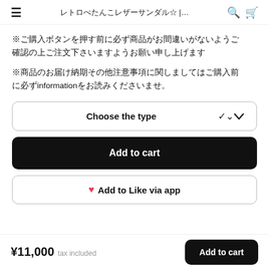レトロぺたんこレザーサンダル☆ |…
※ご購入ボタンを押す前に必ず商品がお間違いがないようご確認の上ご注文下さいますようお願い申し上げます
※商品のお届け納期その他注意事項に関しましてはご購入前に必ずinformationをお読みくださいませ。
Choose the type
Add to cart
♥ Add to Like via app
¥11,000 tax included Add to cart